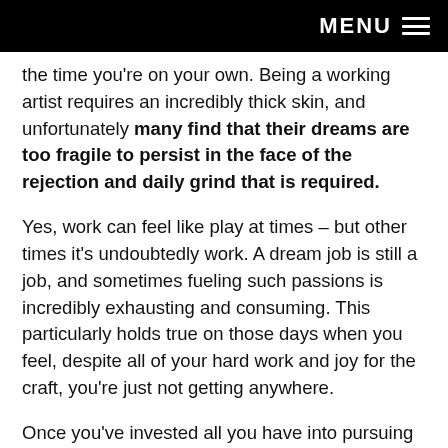MENU ≡
the time you're on your own. Being a working artist requires an incredibly thick skin, and unfortunately many find that their dreams are too fragile to persist in the face of the rejection and daily grind that is required.
Yes, work can feel like play at times – but other times it's undoubtedly work. A dream job is still a job, and sometimes fueling such passions is incredibly exhausting and consuming. This particularly holds true on those days when you feel, despite all of your hard work and joy for the craft, you're just not getting anywhere.
Once you've invested all you have into pursuing your dreams, you may end up disappointed. Reaching that part of the journey can feel both depressing and liberating. Depressing because the dream did not unfold as you envisioned. Liberating because you know you gave it your